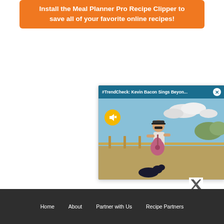Install the Meal Planner Pro Recipe Clipper to save all of your favorite online recipes!
[Figure (screenshot): Video popup with teal title bar showing '#TrendCheck: Kevin Bacon Sings Beyon...' with a close X button, and a video thumbnail showing a person playing guitar outdoors with a mute button overlay]
[Figure (logo): X (Twitter) social media logo icon]
Home   About   Partner with Us   Recipe Partners